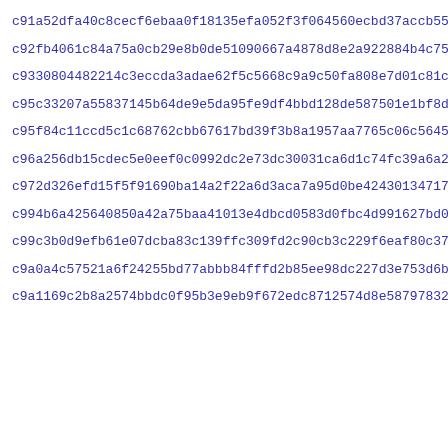c91a52dfa40c8cecf6ebaa0f18135efa052f3f064560ecbd37accb5501481
c92fb4061c84a75a0cb29e8b0de51090667a4878d8e2a922884b4c7511ebc
c9330804482214c3eccda3adae62f5c5668c9a9c50fa808e7d01c81c0fafb
c95c33207a55837145b64de9e5da95fe9df4bbd128de587501e1bf8d3e8a9
c95f84c11ccd5c1c68762cbb67617bd39f3b8a1957aa7765c06c56451026c
c96a256db15cdec5e0eef0c0992dc2e73dc30031ca6d1c74fc39a6a2c4442
c972d326efd15f5f91690ba14a2f22a6d3aca7a95d0be42430134717ff900
c994b6a425640850a42a75baa41013e4dbcd0583d0fbc4d991627bd0c3fee
c99c3b0d9efb61e07dcba83c139ffc309fd2c90cb3c229f6eaf80c3737f45
c9a0a4c57521a6f24255bd77abbb84fffd2b85ee98dc227d3e753d6b813f9
c9a1169c2b8a2574bbdc0f95b3e9eb9f672edc8712574d8e58797832ba207